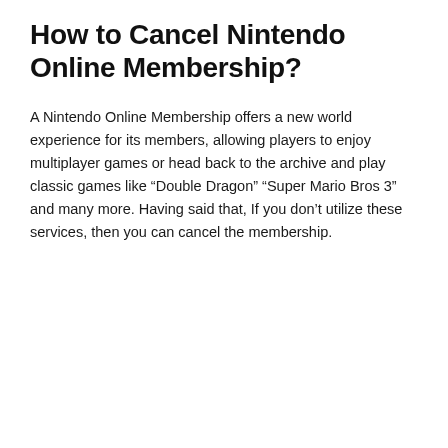How to Cancel Nintendo Online Membership?
A Nintendo Online Membership offers a new world experience for its members, allowing players to enjoy multiplayer games or head back to the archive and play classic games like “Double Dragon” “Super Mario Bros 3” and many more. Having said that, If you don’t utilize these services, then you can cancel the membership.